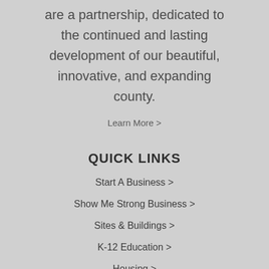are a partnership, dedicated to the continued and lasting development of our beautiful, innovative, and expanding county.
Learn More >
QUICK LINKS
Start A Business >
Show Me Strong Business >
Sites & Buildings >
K-12 Education >
Housing >